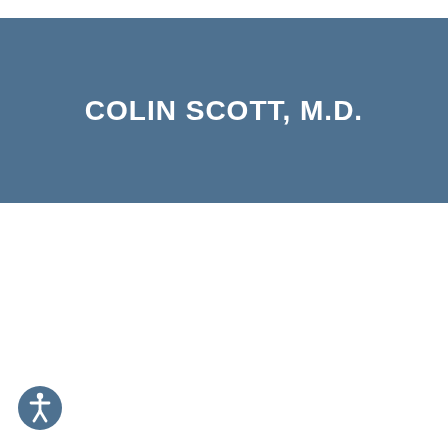COLIN SCOTT, M.D.
[Figure (illustration): Accessibility icon: white human figure inside a dark teal-blue circle, positioned at bottom left corner]